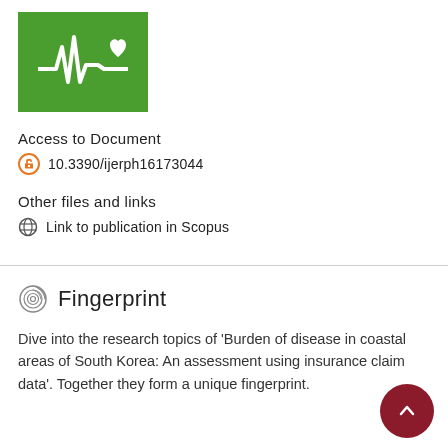[Figure (logo): Green square logo with white ECG/heartbeat line and heart icon]
Access to Document
10.3390/ijerph16173044
Other files and links
Link to publication in Scopus
Fingerprint
Dive into the research topics of 'Burden of disease in coastal areas of South Korea: An assessment using insurance claim data'. Together they form a unique fingerprint.